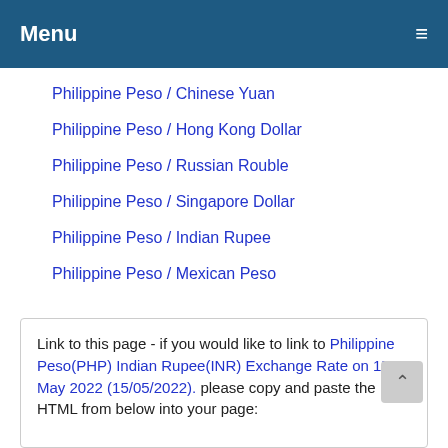Menu ≡
Philippine Peso / Chinese Yuan
Philippine Peso / Hong Kong Dollar
Philippine Peso / Russian Rouble
Philippine Peso / Singapore Dollar
Philippine Peso / Indian Rupee
Philippine Peso / Mexican Peso
Link to this page - if you would like to link to Philippine Peso(PHP) Indian Rupee(INR) Exchange Rate on 15 May 2022 (15/05/2022). please copy and paste the HTML from below into your page: